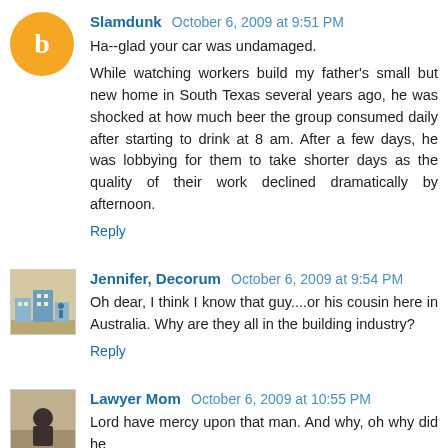Slamdunk  October 6, 2009 at 9:51 PM
Ha--glad your car was undamaged.
While watching workers build my father's small but new home in South Texas several years ago, he was shocked at how much beer the group consumed daily after starting to drink at 8 am. After a few days, he was lobbying for them to take shorter days as the quality of their work declined dramatically by afternoon.
Reply
Jennifer, Decorum  October 6, 2009 at 9:54 PM
Oh dear, I think I know that guy....or his cousin here in Australia. Why are they all in the building industry?
Reply
Lawyer Mom  October 6, 2009 at 10:55 PM
Lord have mercy upon that man. And why, oh why did he...